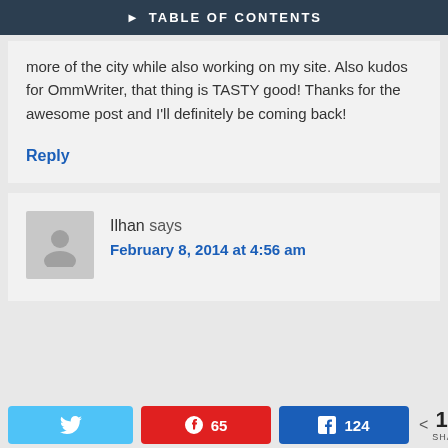▶ TABLE OF CONTENTS
more of the city while also working on my site. Also kudos for OmmWriter, that thing is TASTY good! Thanks for the awesome post and I'll definitely be coming back!
Reply
Ilhan says
February 8, 2014 at 4:56 am
65  124  189 SHARES